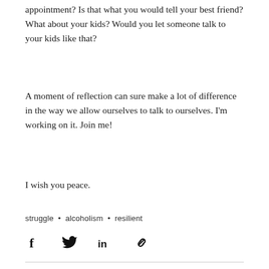appointment? Is that what you would tell your best friend? What about your kids? Would you let someone talk to your kids like that?
A moment of reflection can sure make a lot of difference in the way we allow ourselves to talk to ourselves. I'm working on it. Join me!
I wish you peace.
struggle • alcoholism • resilient
[Figure (infographic): Social share icons: Facebook (f), Twitter (bird), LinkedIn (in), Link (chain icon)]